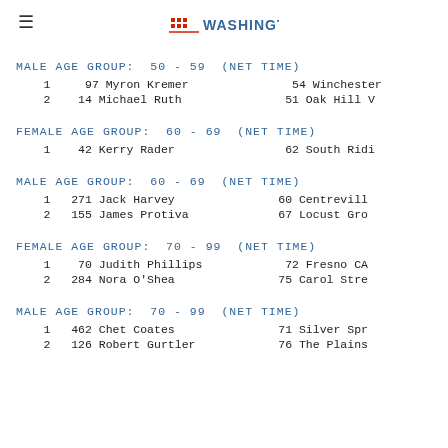Run Washington logo header
MALE AGE GROUP:  50 - 59  (NET TIME)
1     97 Myron Kremer                54 Winchester
2     14 Michael Ruth                51 Oak Hill V
FEMALE AGE GROUP:  60 - 69  (NET TIME)
1     42 Kerry Rader                 62 South Ridi
MALE AGE GROUP:  60 - 69  (NET TIME)
1    271 Jack Harvey                 60 Centrevill
2    155 James Protiva               67 Locust Gro
FEMALE AGE GROUP:  70 - 99  (NET TIME)
1     70 Judith Phillips             72 Fresno CA
2    284 Nora O'Shea                 75 Carol Stre
MALE AGE GROUP:  70 - 99  (NET TIME)
1    462 Chet Coates                 71 Silver Spr
2    126 Robert Gurtler              76 The Plains